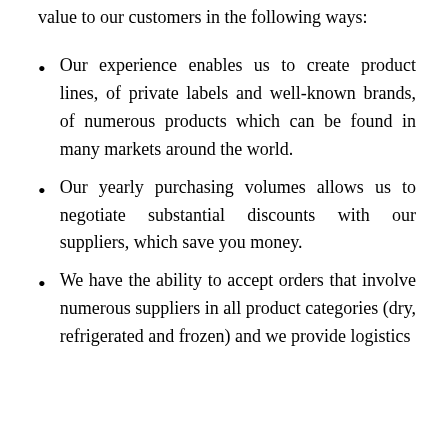value to our customers in the following ways:
Our experience enables us to create product lines, of private labels and well-known brands, of numerous products which can be found in many markets around the world.
Our yearly purchasing volumes allows us to negotiate substantial discounts with our suppliers, which save you money.
We have the ability to accept orders that involve numerous suppliers in all product categories (dry, refrigerated and frozen) and we provide logistics